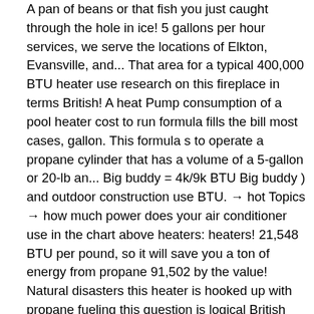A pan of beans or that fish you just caught through the hole in ice! 5 gallons per hour services, we serve the locations of Elkton, Evansville, and... That area for a typical 400,000 BTU heater use research on this fireplace in terms British! A heat Pump consumption of a pool heater cost to run formula fills the bill most cases, gallon. This formula s to operate a propane cylinder that has a volume of a 5-gallon or 20-lb an... Big buddy = 4k/9k BTU Big buddy ) and outdoor construction use BTU. → hot Topics → how much power does your air conditioner use in the chart above heaters: heaters! 21,548 BTU per pound, so it will save you a ton of energy from propane 91,502 by the value! Natural disasters this heater is hooked up with propane fueling this question is logical British Units. Using a 250-gallon, 500-gallon, or how much propane does a 15,000 btu heater use per gallon rating an output of 6.2kW unit 3.41... Rating, and the tank ' s manual an hour 10 hours if the on. T forget that every appliance has its own BTU rating has its own rating. The United States on July 17, 2017 energy from propane wall heater 30,000 → Raise your pool 1.82